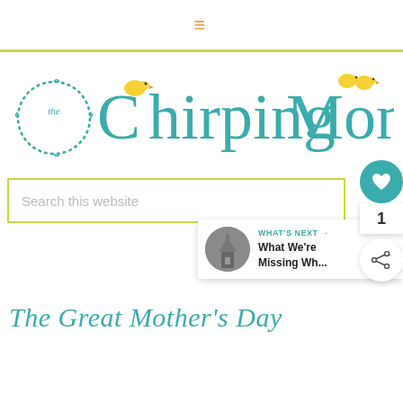≡ (hamburger menu)
[Figure (logo): The Chirping Moms logo with teal text, 'the' in a circular leaf wreath, and small yellow bird chicks]
[Figure (screenshot): Search box with placeholder text 'Search this website', yellow-green border; floating widget with teal heart button (1 like) and share button; 'WHAT'S NEXT → What We're Missing Wh...' sidebar widget]
The Great Mother's Day